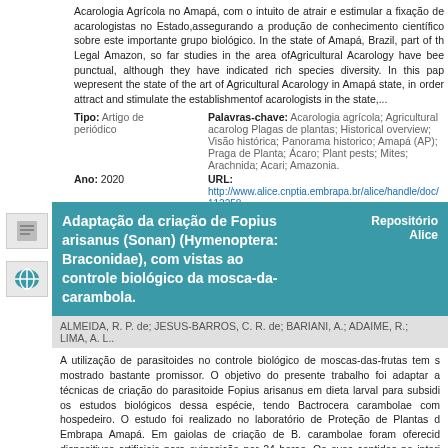Acarologia Agrícola no Amapá, com o intuito de atrair e estimular a fixação de acarologistas no Estado,assegurando a produção de conhecimento científico sobre este importante grupo biológico. In the state of Amapá, Brazil, part of the Legal Amazon, so far studies in the area ofAgricultural Acarology have been punctual, although they have indicated rich species diversity. In this paper wepresent the state of the art of Agricultural Acarology in Amapá state, in order to attract and stimulate the establishmentof acarologists in the state,...
Tipo: Artigo de periódico
Palavras-chave: Acarologia agrícola; Agricultural acarology; Plagas de plantas; Historical overview; Visão histórica; Panorama historico; Amapá (AP); Praga de Planta; Ácaro; Plant pests; Mites; Arachnida; Acari; Amazonia.
Ano: 2020
URL: http://www.alice.cnptia.embrapa.br/alice/handle/doc/112258
Adaptação da criação de Fopius arisanus (Sonan) (Hymenoptera: Braconidae), com vistas ao controle biológico da mosca-da-carambola.
Repositório Alice
ALMEIDA, R. P. de; JESUS-BARROS, C. R. de; BARIANI, A.; ADAIME, R.; LIMA, A. L..
A utilização de parasitoides no controle biológico de moscas-das-frutas tem se mostrado bastante promissor. O objetivo do presente trabalho foi adaptar as técnicas de criação do parasitoide Fopius arisanus em dieta larval para subsidiar os estudos biológicos dessa espécie, tendo Bactrocera carambolae como hospedeiro. O estudo foi realizado no laboratório de Proteção de Plantas da Embrapa Amapá. Em gaiolas de criação de B. carambolae foram oferecidos dispositivos artificiais para oviposição por 24 horas. Os ovos contidos no interior dos dispositivos foram transferidos para um pedaço de papel filtro (4 cm de diâmetro) sobre placa de petri (4 cm de diâmetro) contendo ágar-água 0,7%.
Tipo: Parte de livro
Palavras-chave: Praga de Planta; Inimigo Natural; Mosca das Frutas; Bactrocera Carambolae.